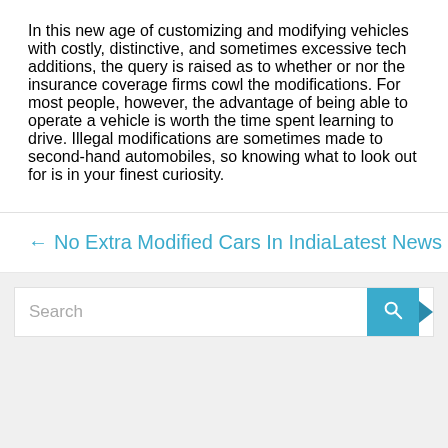In this new age of customizing and modifying vehicles with costly, distinctive, and sometimes excessive tech additions, the query is raised as to whether or nor the insurance coverage firms cowl the modifications. For most people, however, the advantage of being able to operate a vehicle is worth the time spent learning to drive. Illegal modifications are sometimes made to second-hand automobiles, so knowing what to look out for is in your finest curiosity.
← No Extra Modified Cars In India   Latest News →
Search